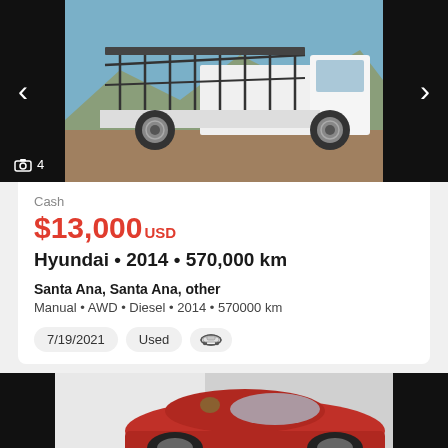[Figure (photo): White Hyundai flatbed truck with metal cage/rack on the back, parked on gravel, blue sky background. Navigation arrows on left and right sides. Photo count indicator showing 4 photos.]
Cash
$13,000 USD
Hyundai • 2014 • 570,000 km
Santa Ana, Santa Ana, other
Manual • AWD • Diesel • 2014 • 570000 km
7/19/2021  Used  [car icon]
[Figure (photo): Partial view of a red car, partial listing card, mostly obscured by black sidebars.]